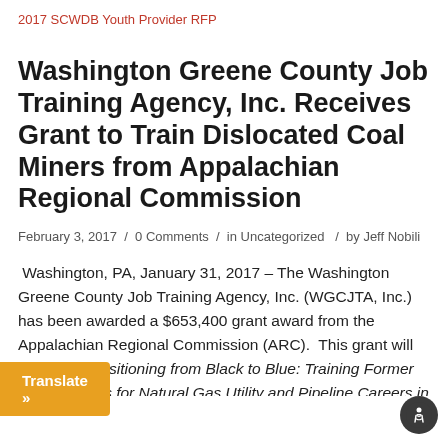2017 SCWDB Youth Provider RFP
Washington Greene County Job Training Agency, Inc. Receives Grant to Train Dislocated Coal Miners from Appalachian Regional Commission
February 3, 2017 / 0 Comments / in Uncategorized / by Jeff Nobili
Washington, PA, January 31, 2017 – The Washington Greene County Job Training Agency, Inc. (WGCJTA, Inc.) has been awarded a $653,400 grant award from the Appalachian Regional Commission (ARC).  This grant will fund the Transitioning from Black to Blue: Training Former Coal Workers for Natural Gas Utility and Pipeline Careers in Appalachia.  The program will be created and implemented in conjunction with Gas Technology Institute (GTI), a leading research, training organization that has been the